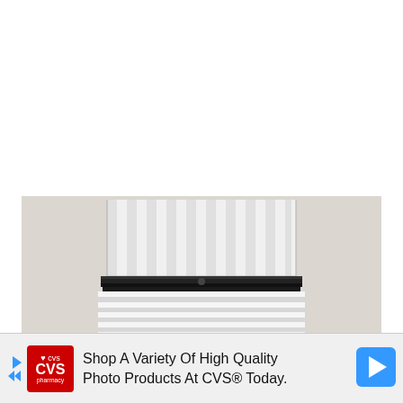[Figure (photo): A photograph of striped fabric/textile with a black zipper or velcro strip running horizontally across the middle. The fabric above the zipper shows vertical grey and white stripes, while the fabric below shows horizontal grey and white stripes. The item is photographed on a beige/cream background.]
Shop A Variety Of High Quality Photo Products At CVS® Today.